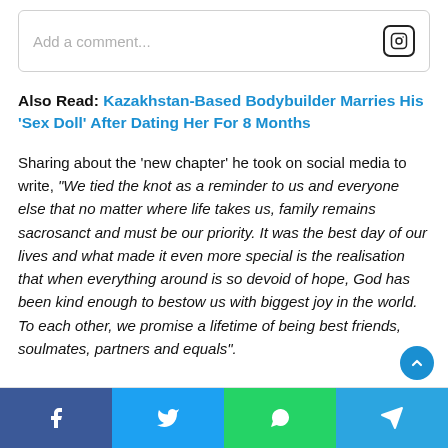Add a comment...
Also Read: Kazakhstan-Based Bodybuilder Marries His 'Sex Doll' After Dating Her For 8 Months
Sharing about the 'new chapter' he took on social media to write, "We tied the knot as a reminder to us and everyone else that no matter where life takes us, family remains sacrosanct and must be our priority. It was the best day of our lives and what made it even more special is the realisation that when everything around is so devoid of hope, God has been kind enough to bestow us with biggest joy in the world. To each other, we promise a lifetime of being best friends, soulmates, partners and equals".
[Figure (other): Social share bar with Facebook, Twitter, WhatsApp, and Telegram buttons]